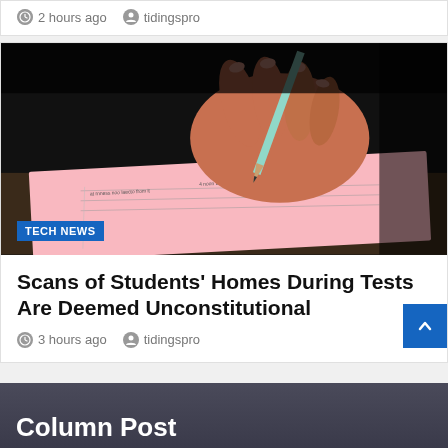2 hours ago   tidingspro
[Figure (photo): Close-up of a hand holding a pencil, writing on a pink exam/test paper with text and lines visible. Dark background. A blue badge reading TECH NEWS is overlaid in the bottom-left corner.]
Scans of Students' Homes During Tests Are Deemed Unconstitutional
3 hours ago   tidingspro
Column Post